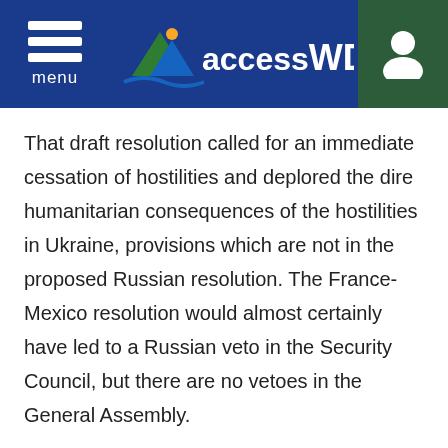[Figure (logo): accessWDUN website header with hamburger menu, accessWDUN logo, and user icon]
That draft resolution called for an immediate cessation of hostilities and deplored the dire humanitarian consequences of the hostilities in Ukraine, provisions which are not in the proposed Russian resolution. The France-Mexico resolution would almost certainly have led to a Russian veto in the Security Council, but there are no vetoes in the General Assembly.
Russia's U.N. Ambassador Vassily Nebenzia told reporters that his country is prepared to support a humanitarian resolution and after Monday's